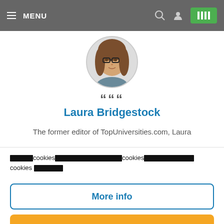MENU
[Figure (photo): Profile photo of Laura Bridgestock, a woman with glasses and brown hair, displayed in a circular crop]
"
Laura Bridgestock
The former editor of TopUniversities.com, Laura
[redacted] cookies [redacted] cookies [redacted] cookies [redacted]
More info
[redacted]